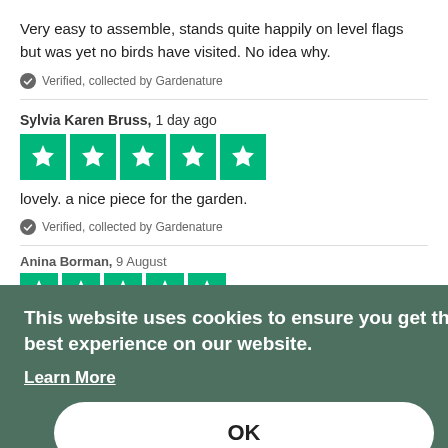Very easy to assemble, stands quite happily on level flags but was yet no birds have visited. No idea why.
Verified, collected by Gardenature
Sylvia Karen Bruss, 1 day ago
[Figure (other): Five green Trustpilot star rating boxes]
lovely. a nice piece for the garden.
Verified, collected by Gardenature
Anina Borman, 9 August
[Figure (other): Five green Trustpilot star rating boxes (partially visible behind overlay)]
Great product and aceevice
Verified, collected by Gardenature
This website uses cookies to ensure you get the best experience on our website.
Learn More
OK
MasSen, 5 August